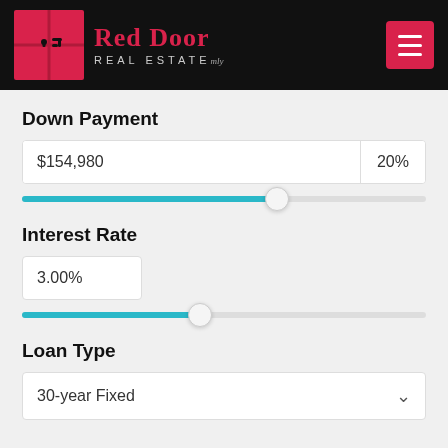[Figure (logo): Red Door Real Estate logo and navigation header on black background with hamburger menu button]
Down Payment
$154,980   20%
[Figure (other): Horizontal slider for down payment, filled teal to ~65% position]
Interest Rate
3.00%
[Figure (other): Horizontal slider for interest rate, filled teal to ~45% position]
Loan Type
30-year Fixed